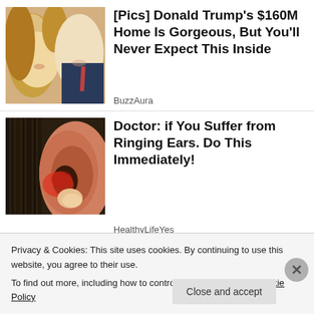[Figure (photo): Thumbnail photo of two people smiling (man and woman)]
[Pics] Donald Trump's $160M Home Is Gorgeous, But You'll Never Expect This Inside
BuzzAura
[Figure (photo): Close-up thumbnail of a human ear with red inflamed area]
Doctor: if You Suffer from Ringing Ears. Do This Immediately!
HealthyLifeYes
Privacy & Cookies: This site uses cookies. By continuing to use this website, you agree to their use.
To find out more, including how to control cookies, see here: Cookie Policy
Close and accept